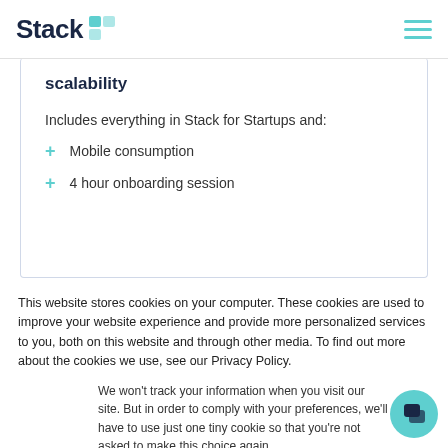Stack
scalability
Includes everything in Stack for Startups and:
Mobile consumption
4 hour onboarding session
This website stores cookies on your computer. These cookies are used to improve your website experience and provide more personalized services to you, both on this website and through other media. To find out more about the cookies we use, see our Privacy Policy.
We won't track your information when you visit our site. But in order to comply with your preferences, we'll have to use just one tiny cookie so that you're not asked to make this choice again.